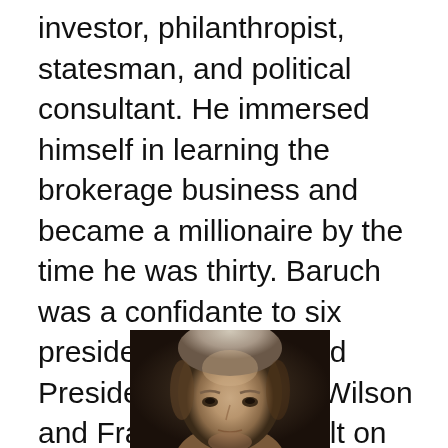investor, philanthropist, statesman, and political consultant. He immersed himself in learning the brokerage business and became a millionaire by the time he was thirty. Baruch was a confidante to six presidents and advised Presidents Woodrow Wilson and Franklin Roosevelt on economic matters in wartime.
[Figure (photo): Black and white photograph of a man's face and upper head, showing an older gentleman with light-colored hair, viewed from slightly below. The background is dark.]